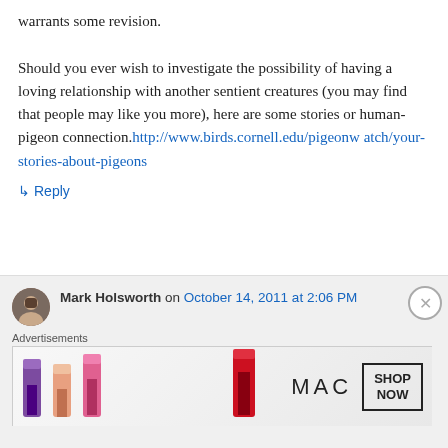warrants some revision. Should you ever wish to investigate the possibility of having a loving relationship with another sentient creatures (you may find that people may like you more), here are some stories or human-pigeon connection. http://www.birds.cornell.edu/pigeonwatch/your-stories-about-pigeons
↳ Reply
Mark Holsworth on October 14, 2011 at 2:06 PM
[Figure (other): MAC cosmetics advertisement banner showing lipsticks with MAC logo and SHOP NOW button]